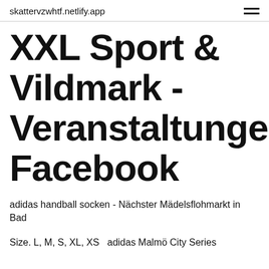skattervzwhtf.netlify.app
XXL Sport & Vildmark - Veranstaltungen Facebook
adidas handball socken - Nächster Mädelsflohmarkt in Bad
Size. L, M, S, XL, XS  adidas Malmö City Series